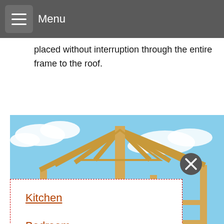Menu
placed without interruption through the entire frame to the roof.
[Figure (photo): Wooden roof frame construction under blue sky with clouds, showing timber framing structure being assembled.]
Kitchen
Bedroom
Furniture
[Figure (photo): Partial view of wooden house frame or model showing roof and wall framing structure.]